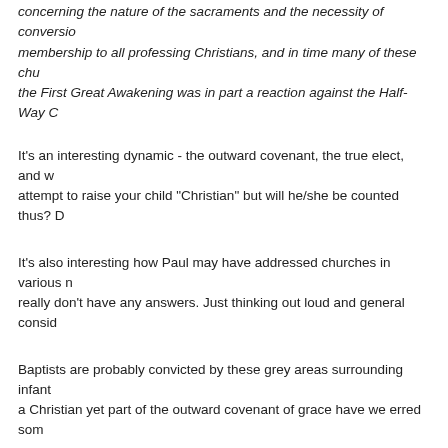concerning the nature of the sacraments and the necessity of conversion, membership to all professing Christians, and in time many of these chu... the First Great Awakening was in part a reaction against the Half-Way C...
It's an interesting dynamic - the outward covenant, the true elect, and w... attempt to raise your child "Christian" but will he/she be counted thus? D...
It's also interesting how Paul may have addressed churches in various n... really don't have any answers. Just thinking out loud and general consid...
Baptists are probably convicted by these grey areas surrounding infant ... a Christian yet part of the outward covenant of grace have we erred som...
Last edited by Anthony C.; Sun Apr 10, 2022 4:03 PM.
Re: Infant Baptism and Paedo-Baptism
Tom OP
Needs to get a Life